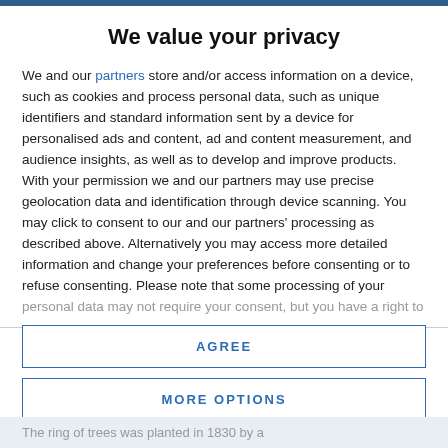We value your privacy
We and our partners store and/or access information on a device, such as cookies and process personal data, such as unique identifiers and standard information sent by a device for personalised ads and content, ad and content measurement, and audience insights, as well as to develop and improve products. With your permission we and our partners may use precise geolocation data and identification through device scanning. You may click to consent to our and our partners' processing as described above. Alternatively you may access more detailed information and change your preferences before consenting or to refuse consenting. Please note that some processing of your personal data may not require your consent, but you have a right to
AGREE
MORE OPTIONS
The ring of trees was planted in 1830 by a